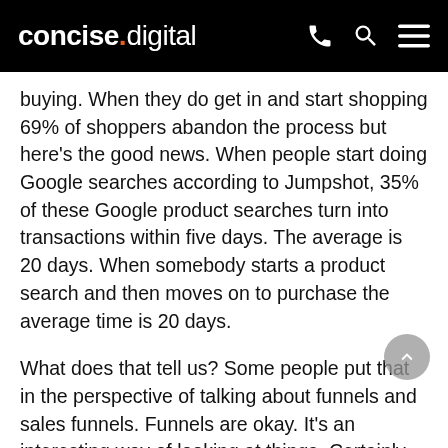concise.digital
buying. When they do get in and start shopping 69% of shoppers abandon the process but here's the good news. When people start doing Google searches according to Jumpshot, 35% of these Google product searches turn into transactions within five days. The average is 20 days. When somebody starts a product search and then moves on to purchase the average time is 20 days.
What does that tell us? Some people put that in the perspective of talking about funnels and sales funnels. Funnels are okay. It's an interesting way of looking at things. Certainly it's an interesting way of looking at statistics and understanding conversion rates but it's a very macro view. When you're looking at SEO a macro view is not so helpful. What I think are better to look at and what we found over the years better to look at is take a micro view and understand what is going on in the buyer's journey, the pathway that the buyer has in order to make a